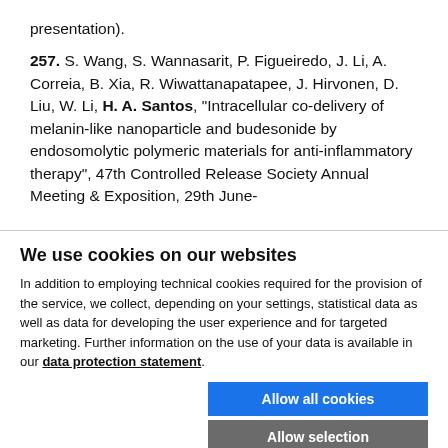presentation).
257. S. Wang, S. Wannasarit, P. Figueiredo, J. Li, A. Correia, B. Xia, R. Wiwattanapatapee, J. Hirvonen, D. Liu, W. Li, H. A. Santos, "Intracellular co-delivery of melanin-like nanoparticle and budesonide by endosomolytic polymeric materials for anti-inflammatory therapy", 47th Controlled Release Society Annual Meeting & Exposition, 29th June-
We use cookies on our websites
In addition to employing technical cookies required for the provision of the service, we collect, depending on your settings, statistical data as well as data for developing the user experience and for targeted marketing. Further information on the use of your data is available in our data protection statement.